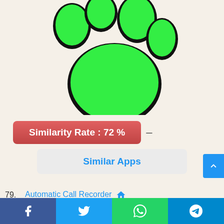[Figure (illustration): Green animal paw print icon on a beige/cream card background]
Similarity Rate : 72 %
Similar Apps
79. Automatic Call Recorder
Record any phone call you want and choose the calls you want to save. You can set which calls are recorded and which are ignored. Listen to
[Figure (infographic): Bottom navigation bar with Facebook, Twitter, WhatsApp, and Telegram icons]